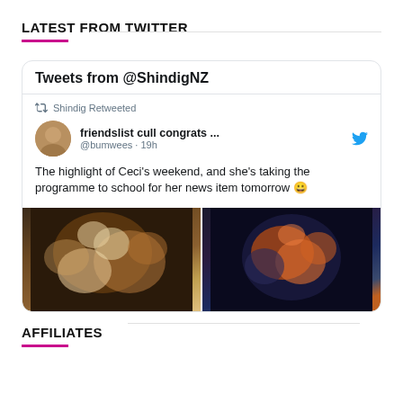LATEST FROM TWITTER
[Figure (screenshot): Embedded Twitter widget showing tweets from @ShindigNZ. Contains a retweeted post by 'friendslist cull congrats ...' (@bumwees, 19h ago) with text: 'The highlight of Ceci's weekend, and she's taking the programme to school for her news item tomorrow 😀' and two blurred photos of what appears to be a programme/booklet.]
AFFILIATES